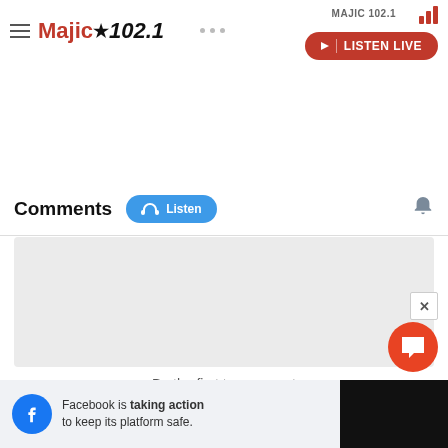Majic 102.1 — LISTEN LIVE
Comments
Be the first to comment
Facebook is taking action to keep its platform safe.